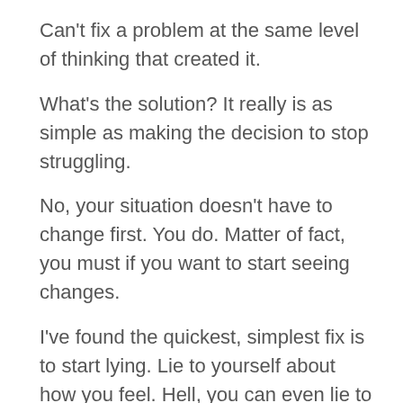Can't fix a problem at the same level of thinking that created it.
What's the solution? It really is as simple as making the decision to stop struggling.
No, your situation doesn't have to change first. You do. Matter of fact, you must if you want to start seeing changes.
I've found the quickest, simplest fix is to start lying. Lie to yourself about how you feel. Hell, you can even lie to yourself about where you live, what you drive, who's your boo, what shoes you usually where, where you work, and that you go on vacations. One time, I was lying so good I messed up and told a coworker people looked at me and thought I had money. This was when I